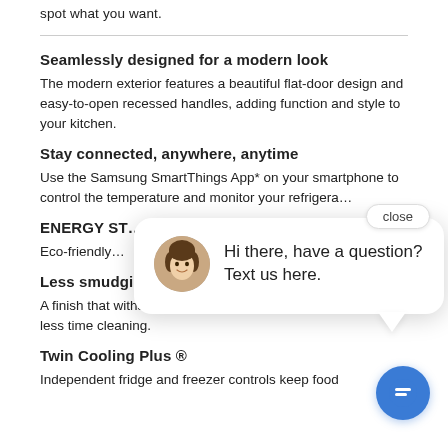spot what you want.
Seamlessly designed for a modern look
The modern exterior features a beautiful flat-door design and easy-to-open recessed handles, adding function and style to your kitchen.
Stay connected, anywhere, anytime
Use the Samsung SmartThings App* on your smartphone to control the temperature and monitor your refrigera…
ENERGY ST…
Eco-friendly…
Less smudging means less cleaning
A finish that withstands everyday smudges, so you spend less time cleaning.
Twin Cooling Plus ®
Independent fridge and freezer controls keep food
[Figure (other): Chat popup overlay with a customer service representative avatar, message 'Hi there, have a question? Text us here.' and a close button. A blue circular chat icon button is also visible.]